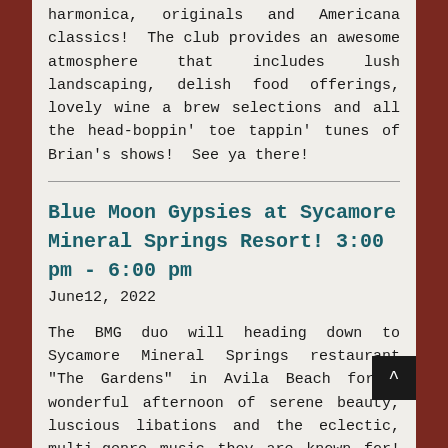harmonica, originals and Americana classics!  The club provides an awesome atmosphere that includes lush landscaping, delish food offerings, lovely wine a brew selections and all the head-boppin' toe tappin' tunes of Brian's shows!  See ya there!
Blue Moon Gypsies at Sycamore Mineral Springs Resort! 3:00 pm - 6:00 pm
June12, 2022
The BMG duo will heading down to Sycamore Mineral Springs restaurant "The Gardens" in Avila Beach for a wonderful afternoon of serene beauty, luscious libations and the eclectic, multi-genre music they are known for! Sunday afternoons just reached a new